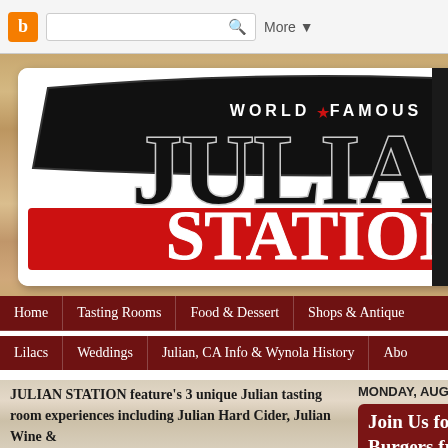Blogger toolbar with search and More button
[Figure (logo): World Famous Julian Station Est. 1873 logo — large black bold JULIAN text over red banner with white STATION text, established 1873]
[Figure (photo): Black and white photo partially visible on the right side, appears to show musical performance]
Home | Tasting Rooms | Food & Dessert | Shops & Antiques
Lilacs | Weddings | Julian, CA Info & Wynola History | About
JULIAN STATION feature's 3 unique Julian tasting room experiences including Julian Hard Cider, Julian Wine &
MONDAY, AUGUST 2
Join Us for a B... Burgers from ...